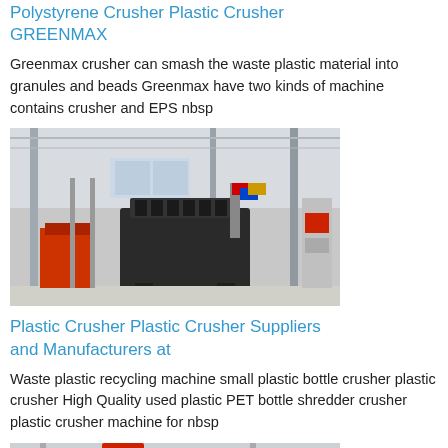Polystyrene Crusher Plastic Crusher GREENMAX
Greenmax crusher can smash the waste plastic material into granules and beads Greenmax have two kinds of machine contains crusher and EPS nbsp
[Figure (photo): Industrial plastic crusher machine in a large warehouse/factory setting with flags and red equipment in background]
Plastic Crusher Plastic Crusher Suppliers and Manufacturers at
Waste plastic recycling machine small plastic bottle crusher plastic crusher High Quality used plastic PET bottle shredder crusher plastic crusher machine for nbsp
[Figure (photo): Industrial plastic grinding/milling machine in a factory setting with red and gray machinery]